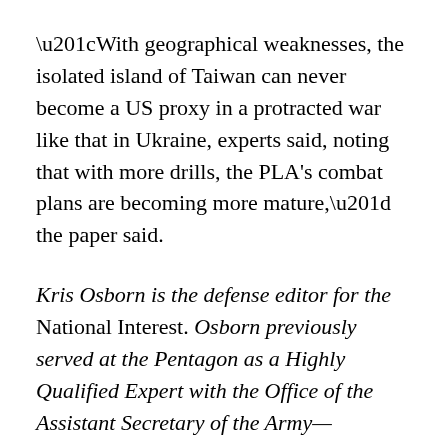“With geographical weaknesses, the isolated island of Taiwan can never become a US proxy in a protracted war like that in Ukraine, experts said, noting that with more drills, the PLA’s combat plans are becoming more mature,” the paper said.
Kris Osborn is the defense editor for the National Interest. Osborn previously served at the Pentagon as a Highly Qualified Expert with the Office of the Assistant Secretary of the Army—Acquisition, Logistics & Technology. Osborn has also worked as an anchor and on-air military specialist at national TV networks. He has